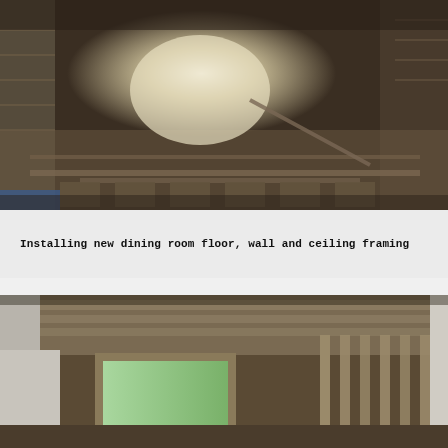[Figure (photo): Interior construction photo showing exposed floor joists, subfloor removed, dirt/sand visible below, bright light from opening at far end, rough wood framing on walls, construction debris. View of new dining room floor framing being installed.]
Installing new dining room floor, wall and ceiling framing
[Figure (photo): Interior construction photo showing exposed ceiling joists/framing, open wall studs, drywall partially installed on left side, doorway opening with view to exterior greenery, wood framing throughout, construction in progress.]